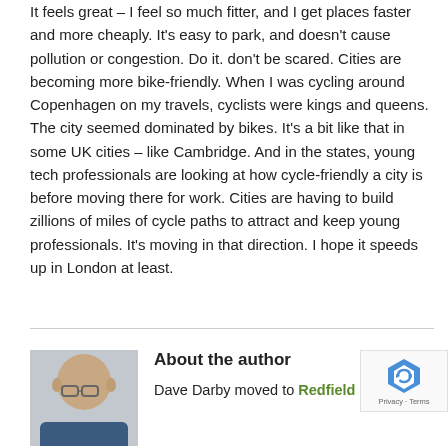It feels great – I feel so much fitter, and I get places faster and more cheaply. It's easy to park, and doesn't cause pollution or congestion. Do it. don't be scared. Cities are becoming more bike-friendly. When I was cycling around Copenhagen on my travels, cyclists were kings and queens. The city seemed dominated by bikes. It's a bit like that in some UK cities – like Cambridge. And in the states, young tech professionals are looking at how cycle-friendly a city is before moving there for work. Cities are having to build zillions of miles of cycle paths to attract and keep young professionals. It's moving in that direction. I hope it speeds up in London at least.
[Figure (photo): Headshot photo of a bald man with glasses wearing a blue top, used as author profile image]
About the author
Dave Darby moved to Redfield in